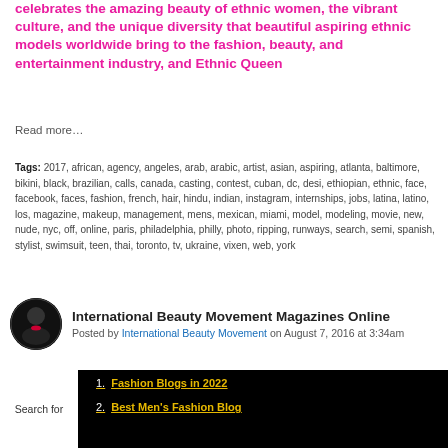celebrates the amazing beauty of ethnic women, the vibrant culture, and the unique diversity that beautiful aspiring ethnic models worldwide bring to the fashion, beauty, and entertainment industry, and Ethnic Queen
Read more…
Tags: 2017, african, agency, angeles, arab, arabic, artist, asian, aspiring, atlanta, baltimore, bikini, black, brazilian, calls, canada, casting, contest, cuban, dc, desi, ethiopian, ethnic, face, facebook, faces, fashion, french, hair, hindu, indian, instagram, internships, jobs, latina, latino, los, magazine, makeup, management, mens, mexican, miami, model, modeling, movie, new, nude, nyc, off, online, paris, philadelphia, philly, photo, ripping, runways, search, semi, spanish, stylist, swimsuit, teen, thai, toronto, tv, ukraine, vixen, web, york
International Beauty Movement Magazines Online
Posted by International Beauty Movement on August 7, 2016 at 3:34am
[Figure (photo): Dark banner image with text]
Search for
Fashion Blogs in 2022
Best Men's Fashion Blog